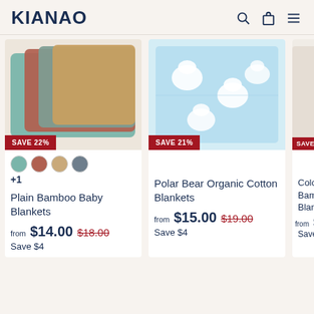KIANAO
[Figure (photo): Stacked folded bamboo baby blankets in teal, rust, sage, and tan colors with SAVE 22% badge]
+1
Plain Bamboo Baby Blankets
from $14.00 $18.00 Save $4
[Figure (photo): Polar bear organic cotton blanket folded on white background with SAVE 21% badge]
Polar Bear Organic Cotton Blankets
from $15.00 $19.00 Save $4
[Figure (photo): Colorful bamboo blanket, partially visible, with SAVE badge]